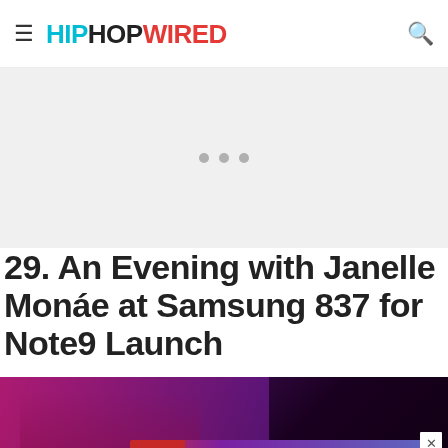HIPHOPWIRED
[Figure (other): Gray ad placeholder area with three dots]
29. An Evening with Janelle Monáe at Samsung 837 for Note9 Launch
[Figure (photo): Concert photo showing a performer at a keyboard under pink and purple stage lighting in a dark venue]
[Figure (other): European Wax Center advertisement banner reading: Experience a new state of smooth — First wax free — Book Now]